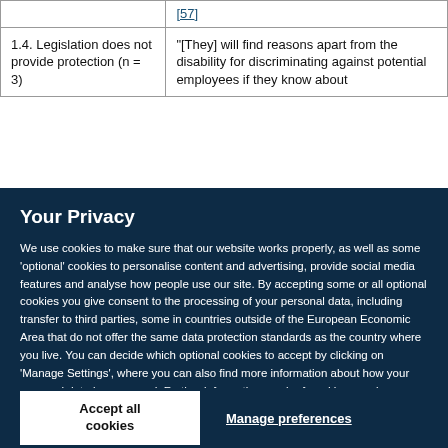|  |  |
| --- | --- |
|  | [57] |
| 1.4. Legislation does not provide protection (n = 3) | "[They] will find reasons apart from the disability for discriminating against potential employees if they know about |
Your Privacy
We use cookies to make sure that our website works properly, as well as some ‘optional’ cookies to personalise content and advertising, provide social media features and analyse how people use our site. By accepting some or all optional cookies you give consent to the processing of your personal data, including transfer to third parties, some in countries outside of the European Economic Area that do not offer the same data protection standards as the country where you live. You can decide which optional cookies to accept by clicking on ‘Manage Settings’, where you can also find more information about how your personal data is processed. Further information can be found in our privacy policy.
Accept all cookies
Manage preferences